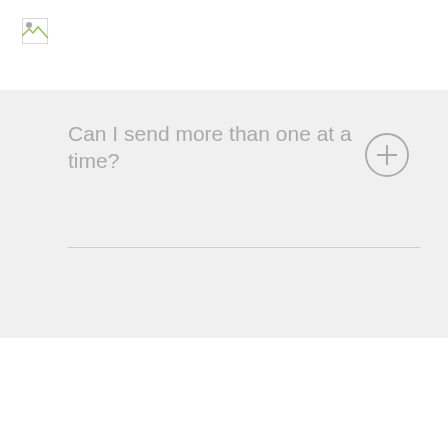[Figure (illustration): Broken image icon placeholder in top-left corner]
Can I send more than one at a time?
[Figure (other): Circular plus (+) button/icon for expanding accordion item]